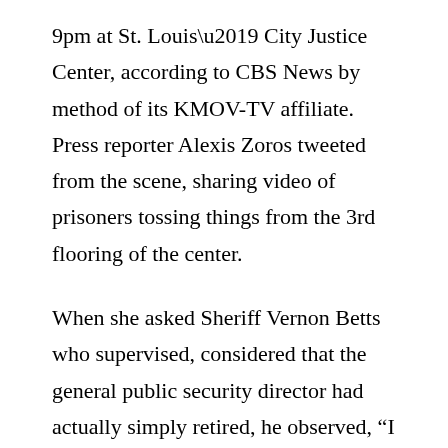9pm at St. Louis’ City Justice Center, according to CBS News by method of its KMOV-TV affiliate. Press reporter Alexis Zoros tweeted from the scene, sharing video of prisoners tossing things from the 3rd flooring of the center.
When she asked Sheriff Vernon Betts who supervised, considered that the general public security director had actually simply retired, he observed, “I think I am.”